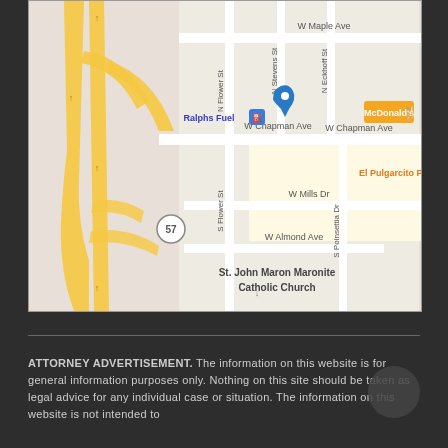[Figure (map): Google Maps screenshot showing the area around W Chapman Ave and S Flower St in Orange, CA. Shows Ralphs Fuel, McDonald's, El Pulgarcito, St. John Maron Maronite Catholic Church, Route 57 freeway, and surrounding streets including W Maple Ave, N Stevens St, N Eckhoff St, W Mills Dr, W Almond Ave, S Poinsettia Dr.]
ATTORNEY ADVERTISEMENT. The information on this website is for general information purposes only. Nothing on this site should be taken as legal advice for any individual case or situation. The information on this website is not intended to